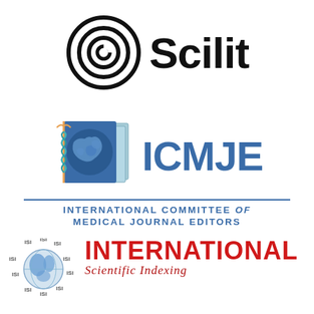[Figure (logo): Scilit logo with concentric spiral circles icon and 'Scilit' text in bold black]
[Figure (logo): ICMJE logo with world map notebook icon and 'ICMJE' text in blue, below reads 'INTERNATIONAL COMMITTEE of MEDICAL JOURNAL EDITORS']
[Figure (logo): ISI International Scientific Indexing logo with globe and red 'INTERNATIONAL' text and italic 'Scientific Indexing' text partially visible]